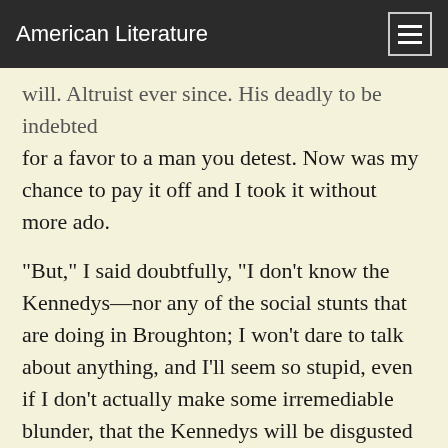American Literature
...for a favor to a man you detest. Now was my chance to pay it off and I took it without more ado.
"But," I said doubtfully, "I don't know the Kennedys—nor any of the social stunts that are doing in Broughton; I won't dare to talk about anything, and I'll seem so stupid, even if I don't actually make some irremediable blunder, that the Kennedys will be disgusted with you. It will probably do your prospects more harm than your absence would."
"Not at all. Keep your mouth shut when you can and talk generalities when you can't, and you'll pass. If you take that girl in she's a stranger in Broughton